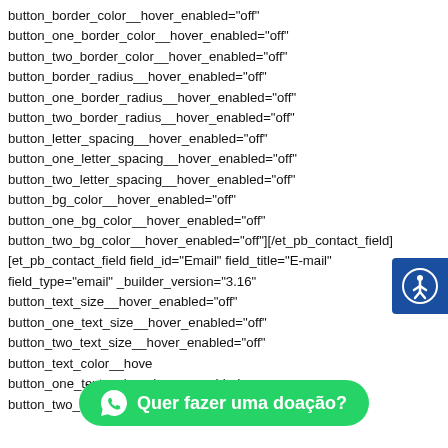button_border_color__hover_enabled="off"
button_one_border_color__hover_enabled="off"
button_two_border_color__hover_enabled="off"
button_border_radius__hover_enabled="off"
button_one_border_radius__hover_enabled="off"
button_two_border_radius__hover_enabled="off"
button_letter_spacing__hover_enabled="off"
button_one_letter_spacing__hover_enabled="off"
button_two_letter_spacing__hover_enabled="off"
button_bg_color__hover_enabled="off"
button_one_bg_color__hover_enabled="off"
button_two_bg_color__hover_enabled="off"][/et_pb_contact_field]
[et_pb_contact_field field_id="Email" field_title="E-mail"
field_type="email" _builder_version="3.16"
button_text_size__hover_enabled="off"
button_one_text_size__hover_enabled="off"
button_two_text_size__hover_enabled="off"
button_text_color__hove
button_one_text_color__hover_enabled= on
button_two_text_color__hover_enabled="off"
[Figure (illustration): Blue accessibility icon button with white person/wheelchair symbol, positioned on the right side of the page]
[Figure (infographic): Green WhatsApp floating bar at bottom with WhatsApp icon and text 'Quer fazer uma doação?']